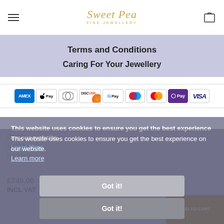Sweet Pea Fine Jewellery
Terms and Conditions
Caring For Your Jewellery
[Figure (other): Payment method badges: AMEX, Apple Pay, Diners Club, Discover, Google Pay, Maestro, Mastercard, OPay, VISA]
This website uses cookies to ensure you get the best experience on our website. Learn more
This website uses cookies to ensure you get the best experience on our website. Learn More
Got it!